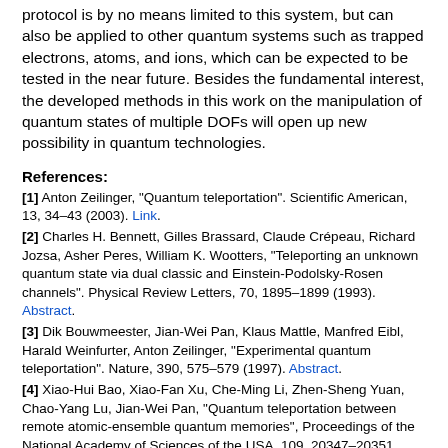protocol is by no means limited to this system, but can also be applied to other quantum systems such as trapped electrons, atoms, and ions, which can be expected to be tested in the near future. Besides the fundamental interest, the developed methods in this work on the manipulation of quantum states of multiple DOFs will open up new possibility in quantum technologies.
References:
[1] Anton Zeilinger, "Quantum teleportation". Scientific American, 13, 34–43 (2003). Link.
[2] Charles H. Bennett, Gilles Brassard, Claude Crépeau, Richard Jozsa, Asher Peres, William K. Wootters, "Teleporting an unknown quantum state via dual classic and Einstein-Podolsky-Rosen channels". Physical Review Letters, 70, 1895–1899 (1993). Abstract.
[3] Dik Bouwmeester, Jian-Wei Pan, Klaus Mattle, Manfred Eibl, Harald Weinfurter, Anton Zeilinger, "Experimental quantum teleportation". Nature, 390, 575–579 (1997). Abstract.
[4] Xiao-Hui Bao, Xiao-Fan Xu, Che-Ming Li, Zhen-Sheng Yuan, Chao-Yang Lu, Jian-Wei Pan, "Quantum teleportation between remote atomic-ensemble quantum memories", Proceedings of the National Academy of Sciences of the USA, 109, 20347–20351 (2012). Abstract.
[5] M. D. Barrett, J. Chiaverini, T. Schaetz, J. Britton, W. M. Itano, J. D. Jost, E. Knill, C. Langer, D. Leibfried, R. Ozeri, D. J. Wineland, "Deterministic quantum teleportation of atomic qubits". Nature, 429, 737–739 (2004). Abstract.
[6] W. Pfaff, B. J. Hensen, H. Bernien, S. B. van Dam, M. S. Blok, T. H. Taminiau, M. J.